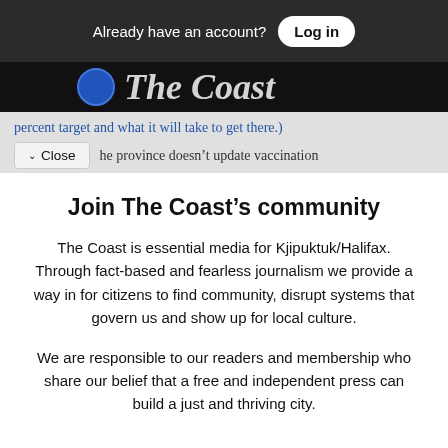Already have an account? Log in
[Figure (logo): The Coast newspaper logo — circular blue icon and italic serif text 'The Coast' on dark background]
percent target and what it will take to get there.)
he province doesn't update vaccination
Join The Coast's community
The Coast is essential media for Kjipuktuk/Halifax. Through fact-based and fearless journalism we provide a way in for citizens to find community, disrupt systems that govern us and show up for local culture.
We are responsible to our readers and membership who share our belief that a free and independent press can build a just and thriving city.